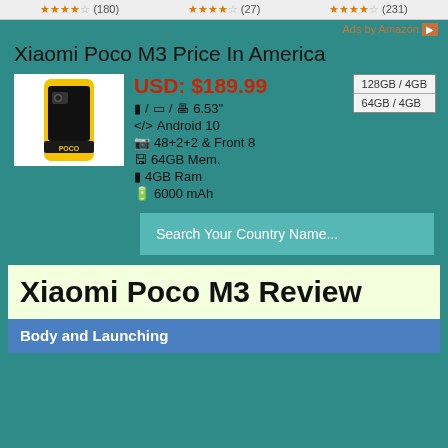★★★★☆ (180)   ★★★★☆ (27)   ★★★★☆ (231)
Ads by Amazon
Xiaomi Poco M3 Price In America
[Figure (photo): Xiaomi Poco M3 phone product image showing yellow and black design]
USD: $189.99
128GB / 4GB
64GB / 4GB
📱 / 📷 / 💻 6.53"
</> Android 10
📷 48+2+2 & Front 8
💾 64GB Mem.
🔋 4GB Ram
🔋 6000 mAh
Search Your Country Name...
Xiaomi Poco M3 Review
Body and Launching